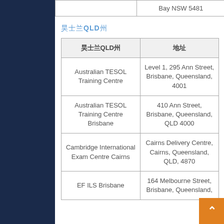|  | Bay NSW 5481 |
昆士兰QLD州
| 昆士兰QLD州 | 地址 |
| --- | --- |
| Australian TESOL Training Centre | Level 1, 295 Ann Street, Brisbane, Queensland, 4001 |
| Australian TESOL Training Centre Brisbane | 410 Ann Street, Brisbane, Queensland, QLD 4000 |
| Cambridge International Exam Centre Cairns | Cairns Delivery Centre, Cairns, Queensland, QLD, 4870 |
| EF ILS Brisbane | 164 Melbourne Street, Brisbane, Queensland, |